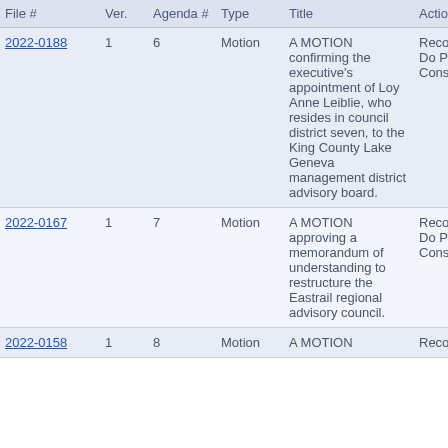| File # | Ver. | Agenda # | Type | Title | Action |
| --- | --- | --- | --- | --- | --- |
| 2022-0188 | 1 | 6 | Motion | A MOTION confirming the executive's appointment of Loy Anne Leiblie, who resides in council district seven, to the King County Lake Geneva management district advisory board. | Recommended Do Pass Consent |
| 2022-0167 | 1 | 7 | Motion | A MOTION approving a memorandum of understanding to restructure the Eastrail regional advisory council. | Recommended Do Pass Consent |
| 2022-0158 | 1 | 8 | Motion | A MOTION | Recommended |